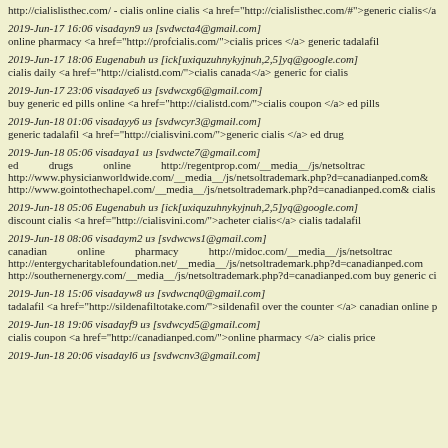http://cialislisthec.com/ - cialis online cialis <a href="http://cialislisthec.com/#">generic cialis</a>
2019-Jun-17 16:06 visadayn9 из [svdwcta4@gmail.com]
online pharmacy <a href="http://profcialis.com/">cialis prices </a> generic tadalafil
2019-Jun-17 18:06 Eugenabuh из [ick[uxiquzuhnykyjnuh,2,5]yq@google.com]
cialis daily <a href="http://cialistd.com/">cialis canada</a> generic for cialis
2019-Jun-17 23:06 visadaye6 из [svdwcxg6@gmail.com]
buy generic ed pills online <a href="http://cialistd.com/">cialis coupon </a> ed pills
2019-Jun-18 01:06 visadayy6 из [svdwcyr3@gmail.com]
generic tadalafil <a href="http://cialisvini.com/">generic cialis </a> ed drug
2019-Jun-18 05:06 visadaya1 из [svdwcte7@gmail.com]
ed drugs online http://regentprop.com/__media__/js/netsoltrac http://www.physicianworldwide.com/__media__/js/netsoltrademark.php?d=canadianped.com& http://www.gointothechapel.com/__media__/js/netsoltrademark.php?d=canadianped.com& cialis
2019-Jun-18 05:06 Eugenabuh из [ick[uxiquzuhnykyjnuh,2,5]yq@google.com]
discount cialis <a href="http://cialisvini.com/">acheter cialis</a> cialis tadalafil
2019-Jun-18 08:06 visadaym2 из [svdwcws1@gmail.com]
canadian online pharmacy http://midoc.com/__media__/js/netsoltrac http://entergycharitablefoundation.net/__media__/js/netsoltrademark.php?d=canadianped.com http://southernenergy.com/__media__/js/netsoltrademark.php?d=canadianped.com buy generic ci
2019-Jun-18 15:06 visadayw8 из [svdwcnq0@gmail.com]
tadalafil <a href="http://sildenafiltotake.com/">sildenafil over the counter </a> canadian online p
2019-Jun-18 19:06 visadayf9 из [svdwcyd5@gmail.com]
cialis coupon <a href="http://canadianped.com/">online pharmacy </a> cialis price
2019-Jun-18 20:06 visadayl6 из [svdwcnv3@gmail.com]